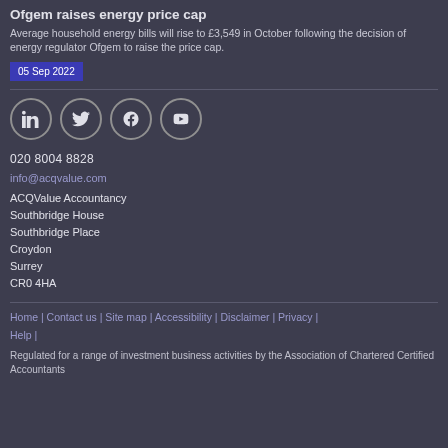Ofgem raises energy price cap
Average household energy bills will rise to £3,549 in October following the decision of energy regulator Ofgem to raise the price cap.
05 Sep 2022
[Figure (other): Social media icons: LinkedIn, Twitter, Facebook, YouTube]
020 8004 8828
info@acqvalue.com
ACQValue Accountancy
Southbridge House
Southbridge Place
Croydon
Surrey
CR0 4HA
Home | Contact us | Site map | Accessibility | Disclaimer | Privacy | Help |
Regulated for a range of investment business activities by the Association of Chartered Certified Accountants